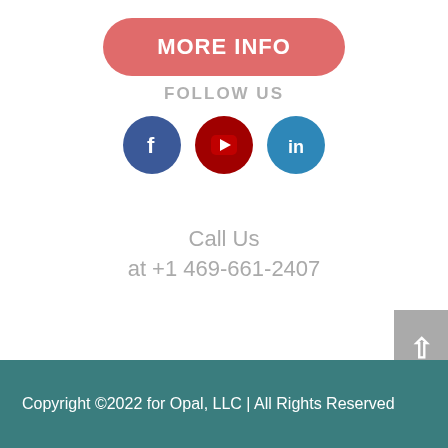[Figure (other): A rounded rectangle button with salmon/coral background color containing bold white text 'MORE INFO']
FOLLOW US
[Figure (other): Three circular social media icons: Facebook (blue), YouTube (dark red), LinkedIn (light blue)]
Call Us
at +1 469-661-2407
[Figure (other): Gray back-to-top button with upward chevron arrow on right side]
Copyright ©2022 for Opal, LLC | All Rights Reserved